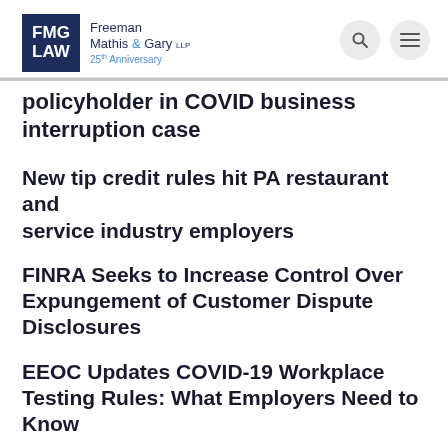FMG LAW | Freeman Mathis & Gary LLP | 25th Anniversary
policyholder in COVID business interruption case
New tip credit rules hit PA restaurant and service industry employers
FINRA Seeks to Increase Control Over Expungement of Customer Dispute Disclosures
EEOC Updates COVID-19 Workplace Testing Rules: What Employers Need to Know